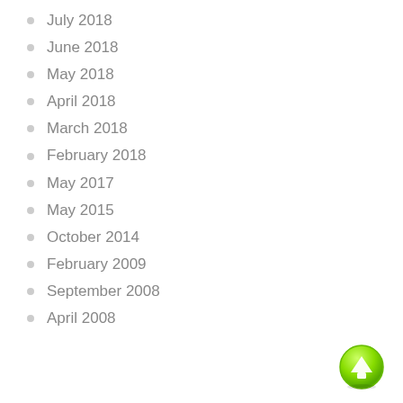July 2018
June 2018
May 2018
April 2018
March 2018
February 2018
May 2017
May 2015
October 2014
February 2009
September 2008
April 2008